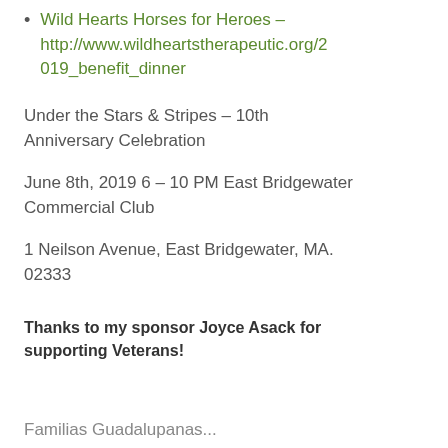Wild Hearts Horses for Heroes – http://www.wildheartstherapeutic.org/2019_benefit_dinner
Under the Stars & Stripes – 10th Anniversary Celebration
June 8th, 2019 6 – 10 PM East Bridgewater Commercial Club
1 Neilson Avenue, East Bridgewater, MA. 02333
Thanks to my sponsor Joyce Asack for supporting Veterans!
Familias Guadalupanas...